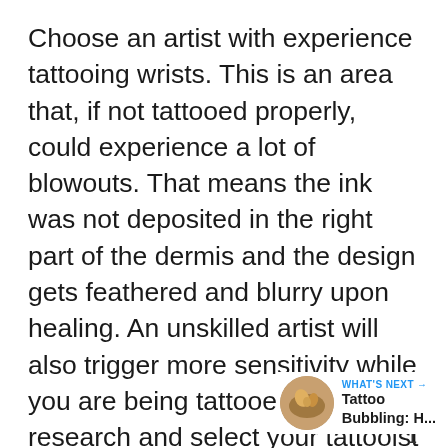Choose an artist with experience tattooing wrists. This is an area that, if not tattooed properly, could experience a lot of blowouts. That means the ink was not deposited in the right part of the dermis and the design gets feathered and blurry upon healing. An unskilled artist will also trigger more sensitivity while you are being tattooed, so research and select your tattooist carefully.
[Figure (infographic): Social media UI overlay: a blue circular heart/like button, a count of '1', a grey circular share button with a share icon]
[Figure (infographic): What's Next panel with circular thumbnail image of food/tattoo content and text 'WHAT'S NEXT → Tattoo Bubbling: H...']